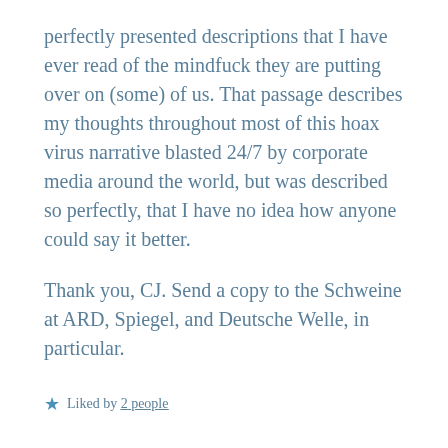perfectly presented descriptions that I have ever read of the mindfuck they are putting over on (some) of us. That passage describes my thoughts throughout most of this hoax virus narrative blasted 24/7 by corporate media around the world, but was described so perfectly, that I have no idea how anyone could say it better.
Thank you, CJ. Send a copy to the Schweine at ARD, Spiegel, and Deutsche Welle, in particular.
Liked by 2 people